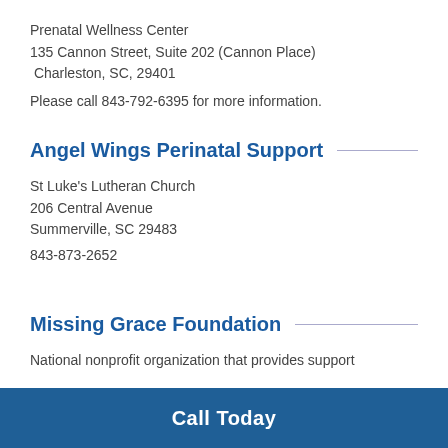Prenatal Wellness Center
135 Cannon Street, Suite 202 (Cannon Place)
Charleston, SC, 29401
Please call 843-792-6395 for more information.
Angel Wings Perinatal Support
St Luke's Lutheran Church
206 Central Avenue
Summerville, SC 29483
843-873-2652
Missing Grace Foundation
National nonprofit organization that provides support
Call Today